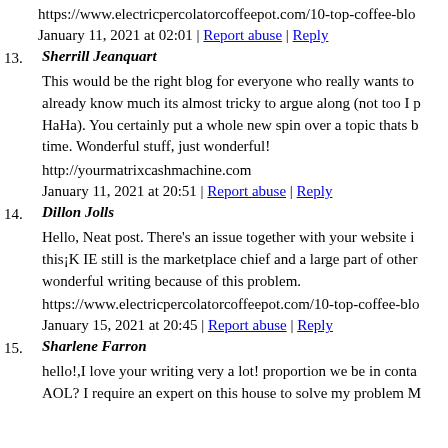https://www.electricpercolatorcoffeepot.com/10-top-coffee-blo
January 11, 2021 at 02:01 | Report abuse | Reply
13. Sherrill Jeanquart
This would be the right blog for everyone who really wants to already know much its almost tricky to argue along (not too I p HaHa). You certainly put a whole new spin over a topic thats b time. Wonderful stuff, just wonderful!
http://yourmatrixcashmachine.com
January 11, 2021 at 20:51 | Report abuse | Reply
14. Dillon Jolls
Hello, Neat post. There's an issue together with your website i this¡K IE still is the marketplace chief and a large part of other wonderful writing because of this problem.
https://www.electricpercolatorcoffeepot.com/10-top-coffee-blo
January 15, 2021 at 20:45 | Report abuse | Reply
15. Sharlene Farron
hello!,I love your writing very a lot! proportion we be in conta AOL? I require an expert on this house to solve my problem M